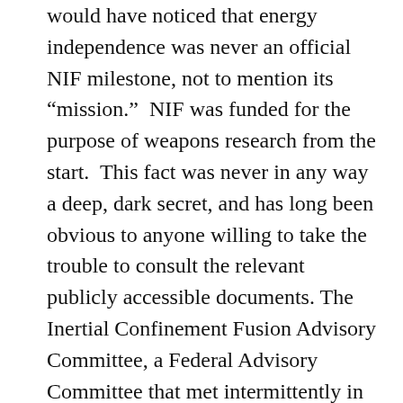would have noticed that energy independence was never an official NIF milestone, not to mention its “mission.”  NIF was funded for the purpose of weapons research from the start.  This fact was never in any way a deep, dark secret, and has long been obvious to anyone willing to take the trouble to consult the relevant publicly accessible documents. The Inertial Confinement Fusion Advisory Committee, a Federal Advisory Committee that met intermittently in the early to mid-90’s, and whose member included a bevy of heavyweights in plasma physics and related specialties, was certainly aware of the fact, and recommended funding of the facility with the single dissenting vote of Tim Coffey, then